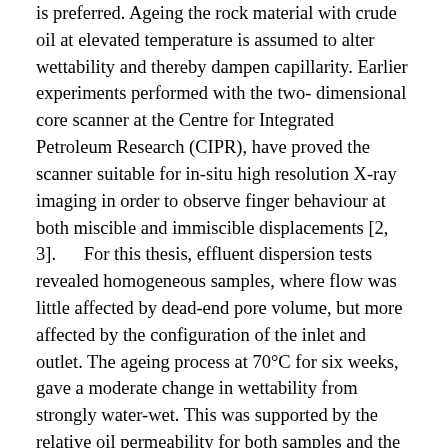is preferred. Ageing the rock material with crude oil at elevated temperature is assumed to alter wettability and thereby dampen capillarity. Earlier experiments performed with the two- dimensional core scanner at the Centre for Integrated Petroleum Research (CIPR), have proved the scanner suitable for in-situ high resolution X-ray imaging in order to observe finger behaviour at both miscible and immiscible displacements [2, 3].      For this thesis, effluent dispersion tests revealed homogeneous samples, where flow was little affected by dead-end pore volume, but more affected by the configuration of the inlet and outlet. The ageing process at 70°C for six weeks, gave a moderate change in wettability from strongly water-wet. This was supported by the relative oil permeability for both samples and the observed fingering and capillary end-effects in the WF+PF sample. No distinct oil bank was observed in the secondary polymer injection in the WF+PF sample. However, the water-cut was kept constant, and it is impossible to exclude the effect of the polymer. The primary